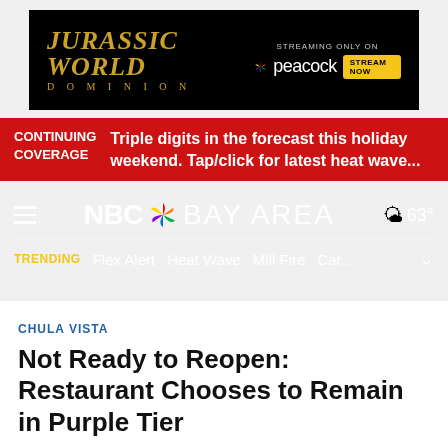[Figure (other): Jurassic World Dominion advertisement banner - black background with gold text, Peacock streaming logo and Stream Now button]
CONTINUING COVERAGE: Triple digits in the forecast this holiday weekend. Tap/click for latest heat wave...
NBC BAY AREA — 63°
TRENDING  Flex Alert  Heat Wave  Mill Fire  Car...
CHULA VISTA
Not Ready to Reopen: Restaurant Chooses to Remain in Purple Tier
MJ's Yogurt Time & Deli in Chula Vista has not yet opened its dining room